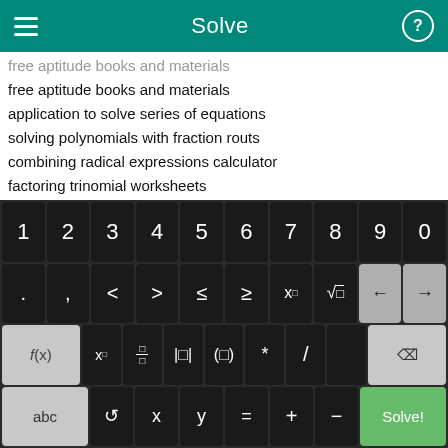Solve
free aptitude books and materials
application to solve series of equations
solving polynomials with fraction routs
combining radical expressions calculator
factoring trinomial worksheets
error13 dimensional on ti86 calculator
free 6th grade saxon math solutions
fractions of a thrid grade three work
square root solver
square root calculator ti83
[Figure (screenshot): Calculator keyboard with 4 rows: digits 1-0, operators and comparison symbols, function keys, and equation-solving keys with Solve! button]